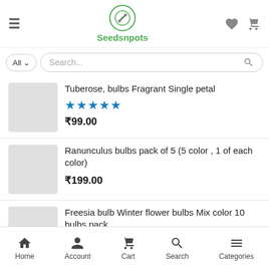Seedsnpots
Search...
Tuberose, bulbs Fragrant Single petal — ★★★★★ — ₹99.00
Ranunculus bulbs pack of 5 (5 color , 1 of each color) — ₹199.00
Freesia bulb Winter flower bulbs Mix color 10 bulbs pack — ★★★★☆ — ₹299.00 ₹199.00
Home | Account | Cart | Search | Categories